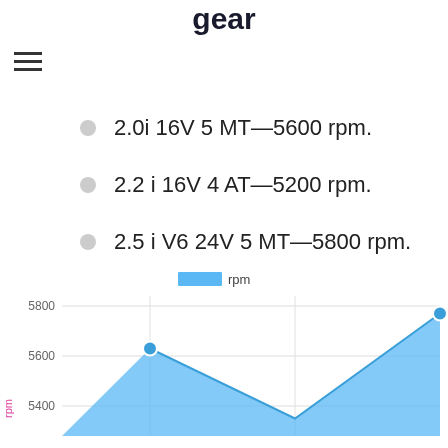gear
2.0i 16V 5 MT—5600 rpm.
2.2 i 16V 4 AT—5200 rpm.
2.5 i V6 24V 5 MT—5800 rpm.
[Figure (area-chart): ]